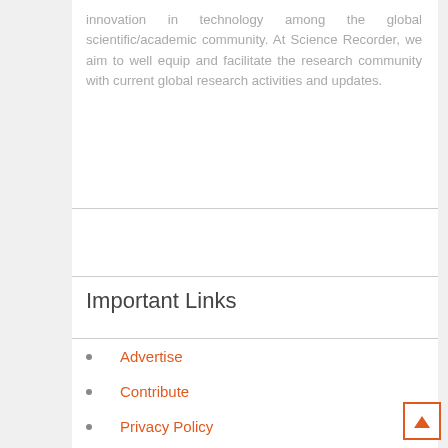innovation in technology among the global scientific/academic community. At Science Recorder, we aim to well equip and facilitate the research community with current global research activities and updates.
Important Links
Advertise
Contribute
Privacy Policy
Editorial Policy
Terms of Use